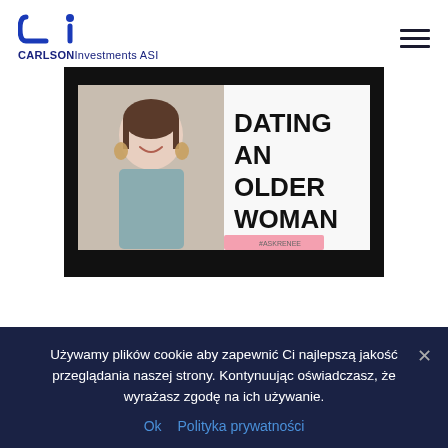[Figure (logo): Carlson Investments ASI logo with stylized Ci mark in blue]
[Figure (photo): Video thumbnail showing a smiling woman with text DATING AN OLDER WOMAN and #ASKRENEE]
Używamy plików cookie aby zapewnić Ci najlepszą jakość przeglądania naszej strony. Kontynuując oświadczasz, że wyrażasz zgodę na ich używanie.
Ok  Polityka prywatności